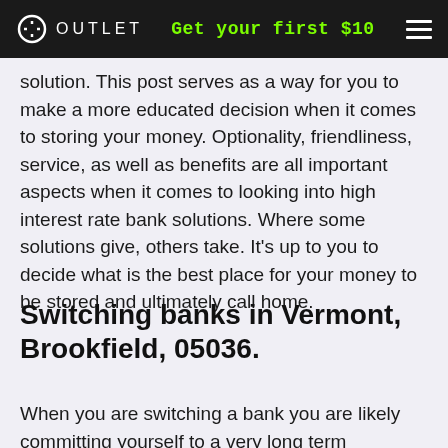OUTLET   Get your first $10
solution. This post serves as a way for you to make a more educated decision when it comes to storing your money. Optionality, friendliness, service, as well as benefits are all important aspects when it comes to looking into high interest rate bank solutions. Where some solutions give, others take. It’s up to you to decide what is the best place for your money to be stored and ultimately call home.
Switching banks in Vermont, Brookfield, 05036.
When you are switching a bank you are likely committing yourself to a very long term relationship with that